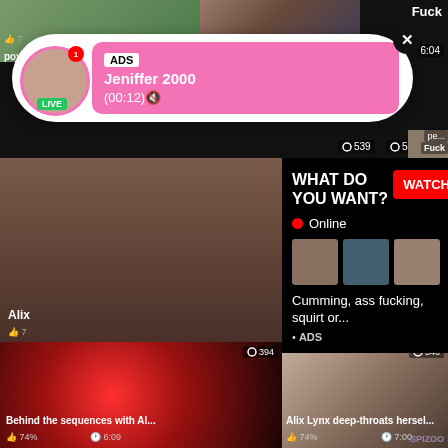[Figure (screenshot): Adult video sharing website screenshot showing multiple video thumbnails in a grid layout with overlaid advertisement popups]
pov d...
Fuck
7
6:04
539
541
ADS
Jeniffer 2000
(00:12)🔇
LIVE
WHAT DO YOU WANT?
WATCH
Online
Cumming, ass fucking, squirt or...
• ADS
Alix
7
pe...
Fuck
7:37
394
546
Behind the sequences with Al...
74%
6:09
Alix Lynx deep-throats hersel...
74%
7:00
SPIZOO